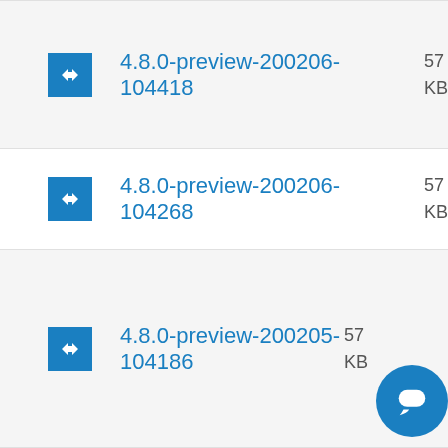4.8.0-preview-200206-104418  57... KB
4.8.0-preview-200206-104268  57... KB
4.8.0-preview-200205-104186  57... KB